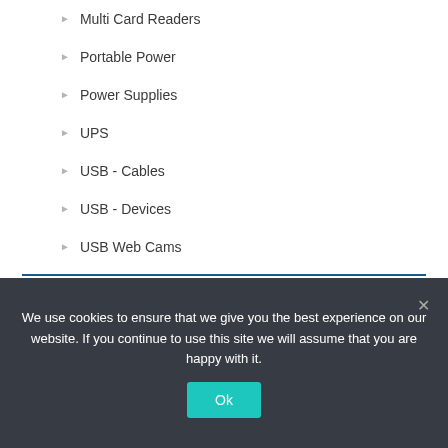Multi Card Readers
Portable Power
Power Supplies
UPS
USB - Cables
USB - Devices
USB Web Cams
Pens Pencils
Phone / Tablet
Phone and Tablets Holders
Phone Systems
We use cookies to ensure that we give you the best experience on our website. If you continue to use this site we will assume that you are happy with it.